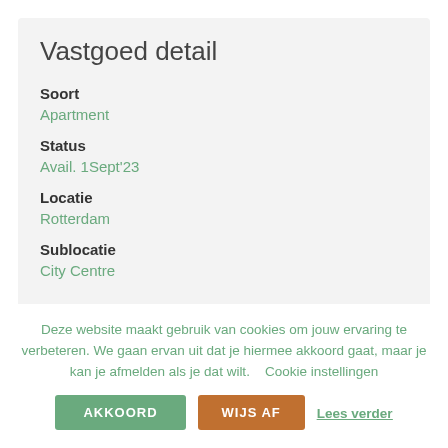Vastgoed detail
Soort
Apartment
Status
Avail. 1Sept'23
Locatie
Rotterdam
Sublocatie
City Centre
Deze website maakt gebruik van cookies om jouw ervaring te verbeteren. We gaan ervan uit dat je hiermee akkoord gaat, maar je kan je afmelden als je dat wilt.    Cookie instellingen
AKKOORD
WIJS AF
Lees verder